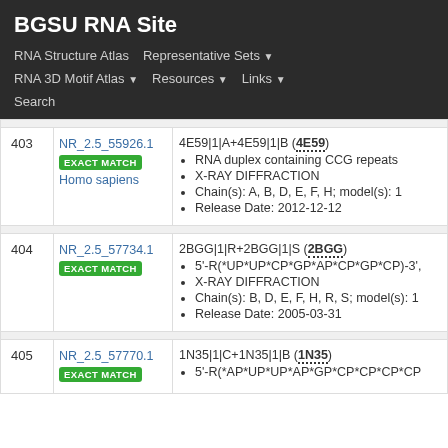BGSU RNA Site
RNA Structure Atlas   Representative Sets ▾   RNA 3D Motif Atlas ▾   Resources ▾   Links ▾   Search
| # | ID / Match | Structure Info |
| --- | --- | --- |
| 403 | NR_2.5_55926.1
EXACT MATCH
Homo sapiens | 4E59|1|A+4E59|1|B (4E59)
• RNA duplex containing CCG repeats
• X-RAY DIFFRACTION
• Chain(s): A, B, D, E, F, H; model(s): 1
• Release Date: 2012-12-12 |
| 404 | NR_2.5_57734.1
EXACT MATCH | 2BGG|1|R+2BGG|1|S (2BGG)
• 5'-R(*UP*UP*CP*GP*AP*CP*GP*CP)-3',
• X-RAY DIFFRACTION
• Chain(s): B, D, E, F, H, R, S; model(s): 1
• Release Date: 2005-03-31 |
| 405 | NR_2.5_57770.1
EXACT MATCH | 1N35|1|C+1N35|1|B (1N35)
• 5'-R(*AP*UP*UP*AP*GP*CP*CP*CP*CP |